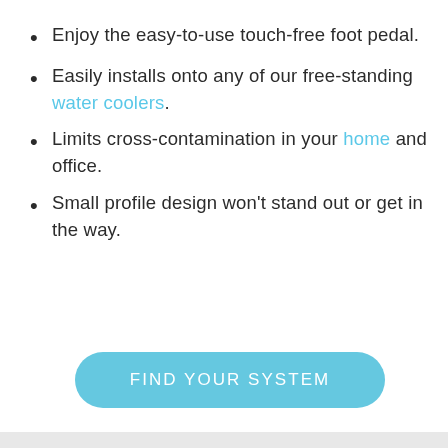Enjoy the easy-to-use touch-free foot pedal.
Easily installs onto any of our free-standing water coolers.
Limits cross-contamination in your home and office.
Small profile design won't stand out or get in the way.
FIND YOUR SYSTEM